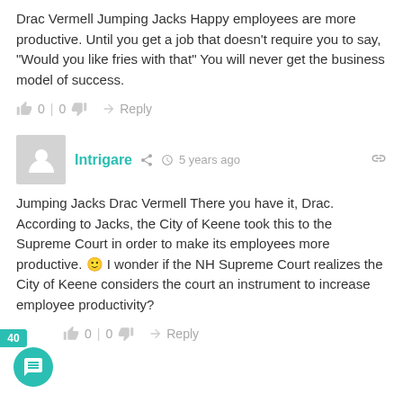Drac Vermell Jumping Jacks Happy employees are more productive. Until you get a job that doesn't require you to say, "Would you like fries with that" You will never get the business model of success.
0 | 0   Reply
Intrigare   5 years ago
Jumping Jacks Drac Vermell There you have it, Drac.  According to Jacks, the City of Keene took this to the Supreme Court in order to make its employees more productive. 😊 I wonder if the NH Supreme Court realizes the City of Keene considers the court an instrument to increase employee productivity?
0 | 0   Reply